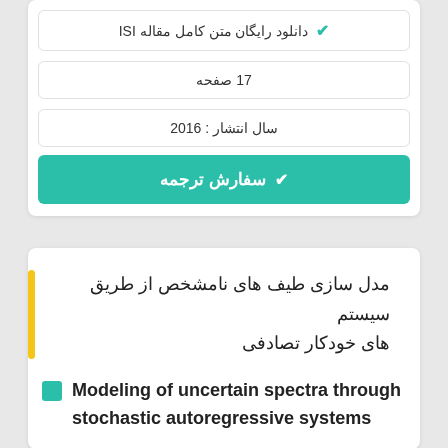✔ دانلود رایگان متن کامل مقاله ISI
17 صفحه
سال انتشار : 2016
✔ سفارش ترجمه
مدل سازی طیف های نامشخص از طریق سیستم های خودکار تصادفی
Modeling of uncertain spectra through stochastic autoregressive systems